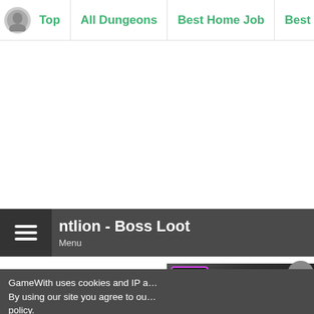Top | All Dungeons | Best Home Job | Best Tribe | Bes…
[Figure (screenshot): White advertisement placeholder area]
Antlion - Boss Loot
Menu
Lv1
[Figure (screenshot): Video thumbnail with Good Tech branding and play button overlay showing gaming headset/equipment]
GameWith uses cookies and IP a… By using our site you agree to ou… policy.